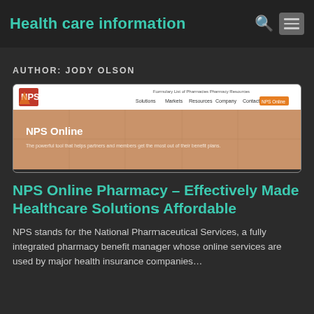Health care information
AUTHOR: JODY OLSON
[Figure (screenshot): Screenshot of NPS Online pharmacy website showing the NPS logo, navigation menu (Solutions, Markets, Resources, Company, Contact), and a hero banner with puzzle pieces background reading 'NPS Online – The powerful tool that helps partners and members get the most out of their benefit plans'.]
NPS Online Pharmacy – Effectively Made Healthcare Solutions Affordable
NPS stands for the National Pharmaceutical Services, a fully integrated pharmacy benefit manager whose online services are used by major health insurance companies...